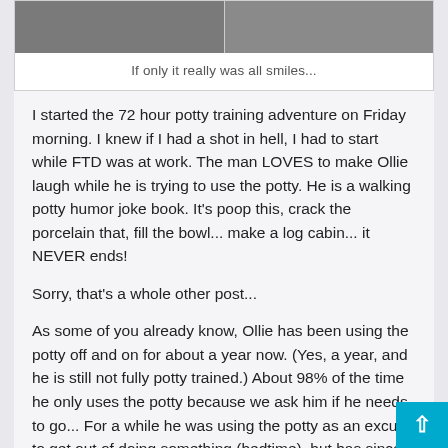[Figure (photo): Two side-by-side photos of a child, partially visible at top of page]
If only it really was all smiles...
I started the 72 hour potty training adventure on Friday morning. I knew if I had a shot in hell, I had to start while FTD was at work. The man LOVES to make Ollie laugh while he is trying to use the potty. He is a walking potty humor joke book. It's poop this, crack the porcelain that, fill the bowl... make a log cabin... it NEVER ends!
Sorry, that's a whole other post...
As some of you already know, Ollie has been using the potty off and on for about a year now. (Yes, a year, and he is still not fully potty trained.) About 98% of the time he only uses the potty because we ask him if he needs to go... For a while he was using the potty as an excuse to get out of doing something (bedtime), but has since learned new tricks for that, so he rarely asks to go. Recently, he has also been using the potty at